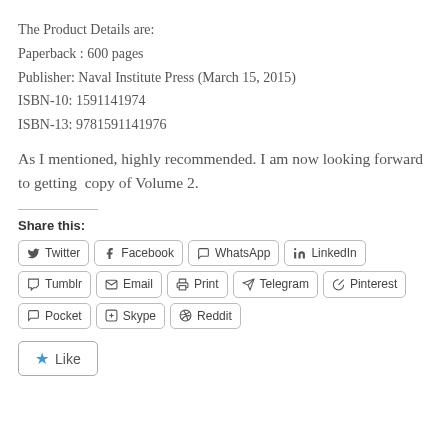The Product Details are:
Paperback : 600 pages
Publisher: Naval Institute Press (March 15, 2015)
ISBN-10: 1591141974
ISBN-13: 9781591141976
As I mentioned, highly recommended. I am now looking forward to getting  copy of Volume 2.
Share this:
Twitter | Facebook | WhatsApp | LinkedIn | Tumblr | Email | Print | Telegram | Pinterest | Pocket | Skype | Reddit
Like